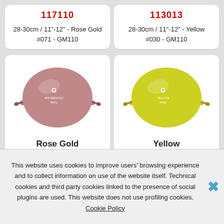117110
28-30cm / 11"-12" - Rose Gold #071 - GM110
113013
28-30cm / 11"-12" - Yellow #030 - GM110
[Figure (photo): Rose gold link-o-loon balloon (connecting balloon) with G logo and #ROSEGOLD #071 text on it, mauve-pink color]
Rose Gold
[Figure (photo): Yellow link-o-loon balloon (connecting balloon) with G logo and YELLOW #030 text on it, bright yellow-green color]
Yellow
This website uses cookies to improve users' browsing experience and to collect information on use of the website itself. Technical cookies and third party cookies linked to the presence of social plugins are used. This website does not use profiling cookies. Cookie Policy